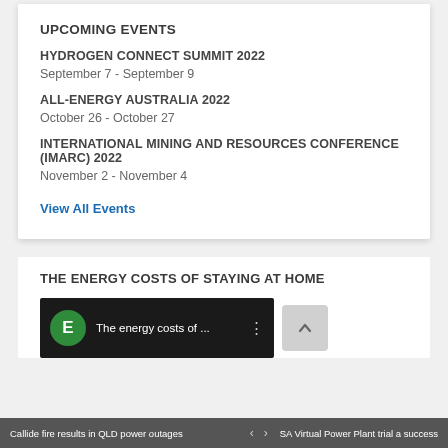UPCOMING EVENTS
HYDROGEN CONNECT SUMMIT 2022
September 7 - September 9
ALL-ENERGY AUSTRALIA 2022
October 26 - October 27
INTERNATIONAL MINING AND RESOURCES CONFERENCE (IMARC) 2022
November 2 - November 4
View All Events
THE ENERGY COSTS OF STAYING AT HOME
[Figure (screenshot): Video thumbnail screenshot with green E icon and text 'The energy costs of ...' with three-dot menu]
Callide fire results in QLD power outages  <  >  SA Virtual Power Plant trial a success